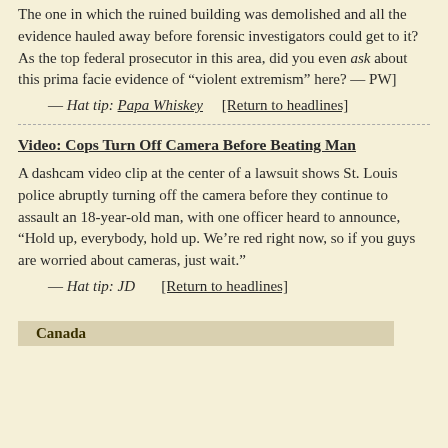The one in which the ruined building was demolished and all the evidence hauled away before forensic investigators could get to it? As the top federal prosecutor in this area, did you even ask about this prima facie evidence of “violent extremism” here? — PW]
— Hat tip: Papa Whiskey    [Return to headlines]
Video: Cops Turn Off Camera Before Beating Man
A dashcam video clip at the center of a lawsuit shows St. Louis police abruptly turning off the camera before they continue to assault an 18-year-old man, with one officer heard to announce, “Hold up, everybody, hold up. We’re red right now, so if you guys are worried about cameras, just wait.”
— Hat tip: JD    [Return to headlines]
Canada